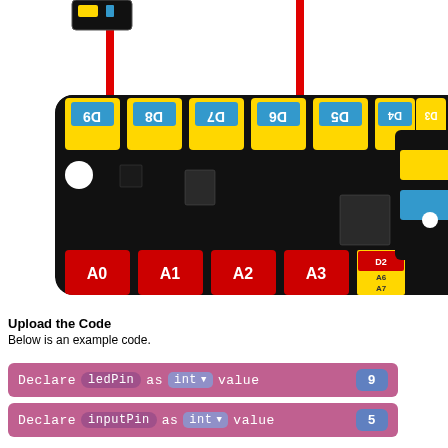[Figure (engineering-diagram): Keyestudio Easy-plug Control Board V2.0 wiring diagram showing the microcontroller board with labeled pins (D3-D9, A0-A3, A6, A7, D2, SPI, COM, I2C) connected via red wires. A partial sensor module is visible on the right edge. The board shows yellow and blue digital pin connectors at top, red analog connectors at bottom, and orange SPI/COM and green I2C connectors on the right.]
Upload the Code
Below is an example code.
[Figure (screenshot): Block-based code snippet: 'Declare ledPin as int value 9' — pink/purple block with courier font, pill-shaped variable name, type selector, and blue number badge.]
[Figure (screenshot): Block-based code snippet: 'Declare inputPin as int value 5' — pink/purple block with courier font, pill-shaped variable name, type selector, and blue number badge.]